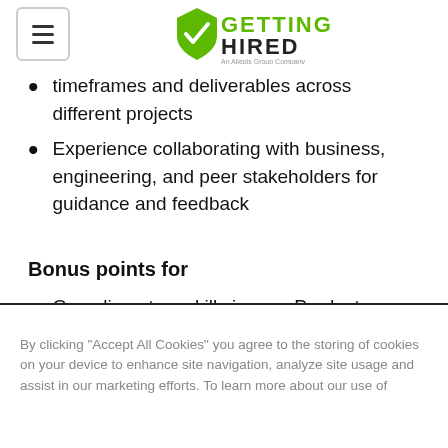Getting Hired (logo) — An Allegis Group Company
timeframes and deliverables across different projects
Experience collaborating with business, engineering, and peer stakeholders for guidance and feedback
Bonus points for
Complimentary skills in your Product Designer arsenal: prototyping (with Flinto, Framer, Marvel, Principle or similar), user research, motion design, illustration
By clicking “Accept All Cookies” you agree to the storing of cookies on your device to enhance site navigation, analyze site usage and assist in our marketing efforts. To learn more about our use of